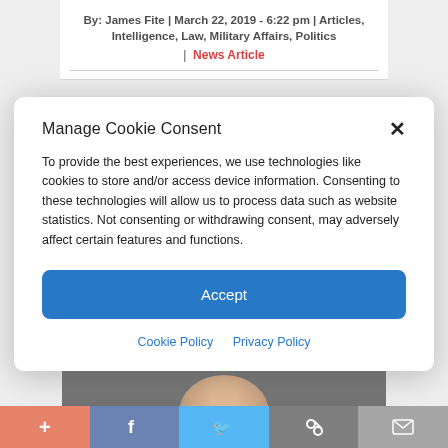By: James Fite | March 22, 2019 - 6:22 pm | Articles, Intelligence, Law, Military Affairs, Politics | News Article
Manage Cookie Consent
To provide the best experiences, we use technologies like cookies to store and/or access device information. Consenting to these technologies will allow us to process data such as website statistics. Not consenting or withdrawing consent, may adversely affect certain features and functions.
Accept
Cookie Policy  Privacy Policy
[Figure (photo): Partially visible photo of a person with light hair against a dark background, behind the cookie consent modal overlay]